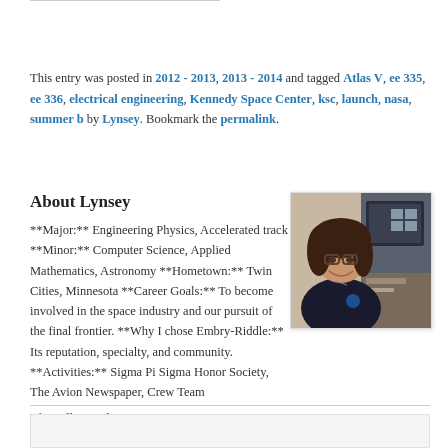This entry was posted in 2012 - 2013, 2013 - 2014 and tagged Atlas V, ee 335, ee 336, electrical engineering, Kennedy Space Center, ksc, launch, nasa, summer b by Lynsey. Bookmark the permalink.
About Lynsey
**Major:** Engineering Physics, Accelerated track **Minor:** Computer Science, Applied Mathematics, Astronomy **Hometown:** Twin Cities, Minnesota **Career Goals:** To become involved in the space industry and our pursuit of the final frontier. **Why I chose Embry-Riddle:** Its reputation, specialty, and community. **Activities:** Sigma Pi Sigma Honor Society, The Avion Newspaper, Crew Team
[Figure (photo): Photo of Lynsey, a young woman with dark hair and glasses, wearing a dark polo shirt, seated in front of a computer monitor in what appears to be a lab or office setting.]
View all posts by Lynsey →